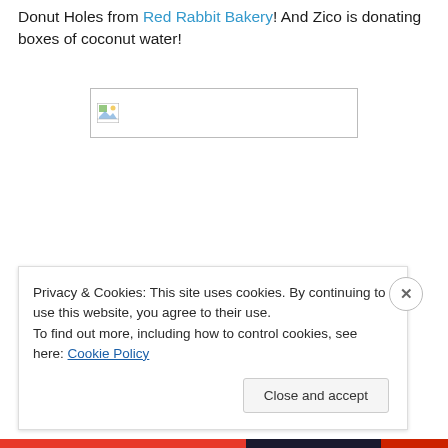Donut Holes from Red Rabbit Bakery! And Zico is donating boxes of coconut water!
[Figure (photo): Broken/unloaded image placeholder with small icon, inside a bordered rectangle]
Privacy & Cookies: This site uses cookies. By continuing to use this website, you agree to their use. To find out more, including how to control cookies, see here: Cookie Policy